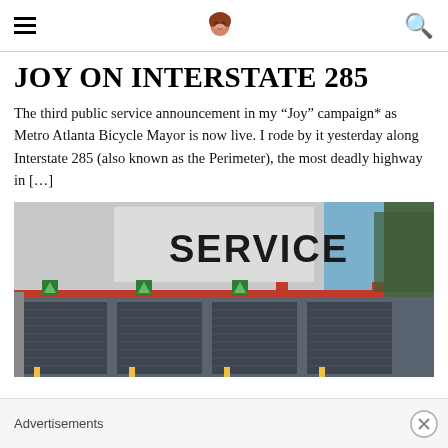☰ [logo] 🔍
JOY ON INTERSTATE 285
The third public service announcement in my “Joy” campaign* as Metro Atlanta Bicycle Mayor is now live. I rode by it yesterday along Interstate 285 (also known as the Perimeter), the most deadly highway in […]
[Figure (photo): Photo of a service center building with large 'SERVICE' text on the facade, roll-up garage doors with green arrows, red stripe accent, and trees in background under blue sky.]
Advertisements